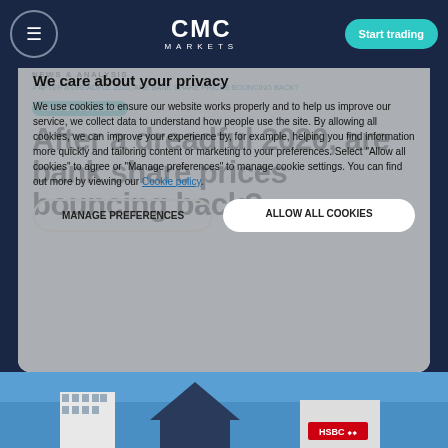CMC MARKETS — Start trading
NEWS & ANALYSIS
AFTER A DREADFUL 2020, ARE BANK SHARE PRICES BOUNCING BACK?
MARKET OUTLOOK
After a dreadful 2020, are bank share prices bouncing back?
We care about your privacy
We use cookies to ensure our website works properly and to help us improve our service, we collect data to understand how people use the site. By allowing all cookies, we can improve your experience by, for example, helping you find information more quickly and tailoring content or marketing to your preferences. Select "Allow all cookies" to agree or "Manage preferences" to manage cookie settings. You can find out more by viewing our Cookie policy.
MANAGE PREFERENCES
ALLOW ALL COOKIES
[Figure (photo): Bottom strip showing bank building facades and logos including HSBC against a blue sky background]